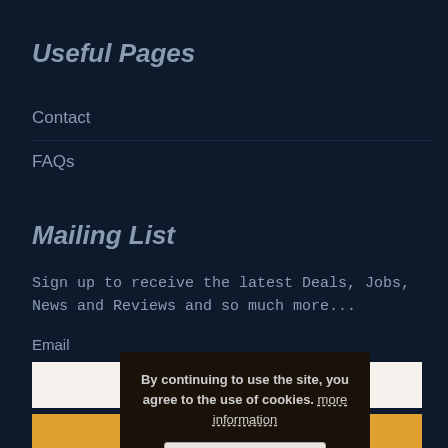Useful Pages
Contact
FAQs
Mailing List
Sign up to receive the latest Deals, Jobs, News and Reviews and so much more...
Email
[Figure (screenshot): Email input field (white/cream background)]
[Figure (screenshot): Submit button (orange/amber background)]
By continuing to use the site, you agree to the use of cookies. more information
Accept